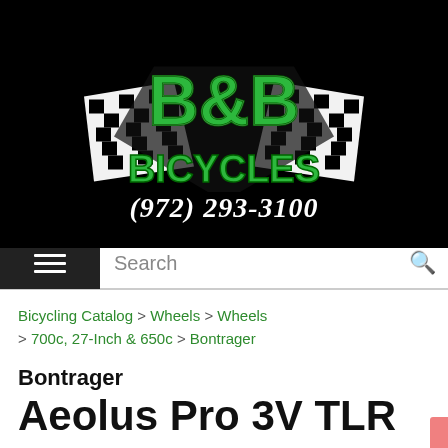[Figure (logo): B&B Bicycles logo with green bold letters and checkered racing flag background on black]
(972) 293-3100
[Figure (other): Navigation bar with hamburger menu icon and search field]
Bicycling Catalog > Wheels > Wheels > 700c, 27-Inch & 650c > Bontrager
Bontrager Aeolus Pro 3V TLR